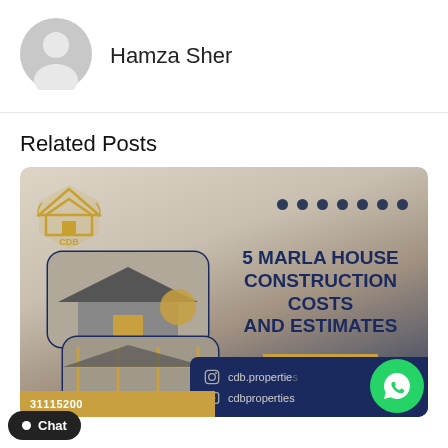[Figure (other): User avatar placeholder circle with a person silhouette icon]
Hamza Sher
Related Posts
[Figure (infographic): CDB Properties promotional banner showing 5 Marla House Construction Costs and Estimates with house images, CDB logo, dots, Learn More button, social media handles (cdb.properties, cdbproperties), WhatsApp button, and phone number 31115200]